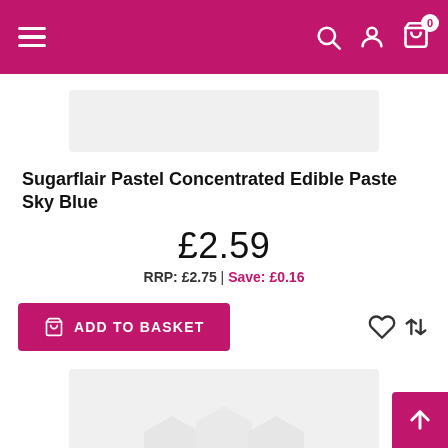Navigation bar with hamburger menu, search, account, and basket (0 items) icons
[Figure (photo): Partial product image placeholder (light grey, top of page)]
Sugarflair Pastel Concentrated Edible Paste Sky Blue
£2.59
RRP: £2.75 | Save: £0.16
ADD TO BASKET
[Figure (photo): Product image placeholder with Magento logo watermark (light grey)]
[Figure (other): Back to top button (pink arrow up)]